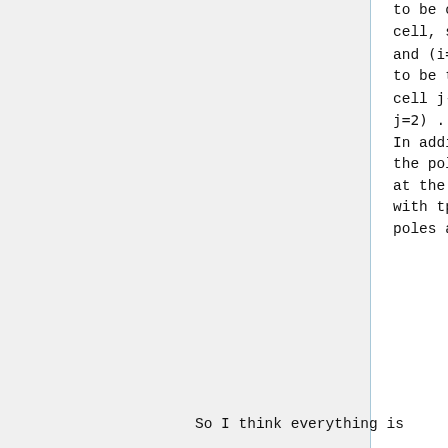to be only one circular grid cell, so the points (i=1, j=1) and (i=im/2+1, j=1) are supposed to be the same grid cell. So the cell j-1 is the cell (i=im/2+1, j=2) ... In addition, the wind values for the pole grid cells are averaged at the end. This is also coherent with tpcore as we consider the poles are one circular grid cell.
So I think everything is